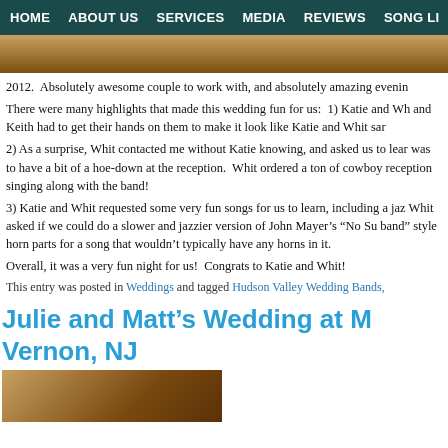HOME   ABOUT US   SERVICES   MEDIA   REVIEWS   SONG LI
2012.  Absolutely awesome couple to work with, and absolutely amazing evenir
There were many highlights that made this wedding fun for us:  1) Katie and Wh and Keith had to get their hands on them to make it look like Katie and Whit sar
2) As a surprise, Whit contacted me without Katie knowing, and asked us to lear was to have a bit of a hoe-down at the reception.  Whit ordered a ton of cowboy reception singing along with the band!
3) Katie and Whit requested some very fun songs for us to learn, including a jaz Whit asked if we could do a slower and jazzier version of John Mayer’s “No Su band” style horn parts for a song that wouldn’t typically have any horns in it.
Overall, it was a very fun night for us!  Congrats to Katie and Whit!
This entry was posted in Weddings and tagged Hudson Valley Wedding Bands,
Julie and Matt’s Wedding at Mount Vernon, NJ
[Figure (photo): Photo strip at bottom of page showing a warm-toned wedding photo]